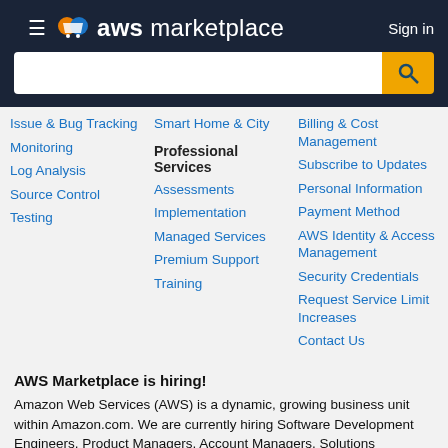AWS Marketplace — Sign in
Issue & Bug Tracking
Monitoring
Log Analysis
Source Control
Testing
Smart Home & City
Professional Services
Assessments
Implementation
Managed Services
Premium Support
Training
Billing & Cost Management
Subscribe to Updates
Personal Information
Payment Method
AWS Identity & Access Management
Security Credentials
Request Service Limit Increases
Contact Us
AWS Marketplace is hiring!
Amazon Web Services (AWS) is a dynamic, growing business unit within Amazon.com. We are currently hiring Software Development Engineers, Product Managers, Account Managers, Solutions Architects, Support Engineers, System Engineers, Designers and more. Visit our Careers page or our Developer-specific Resources page.